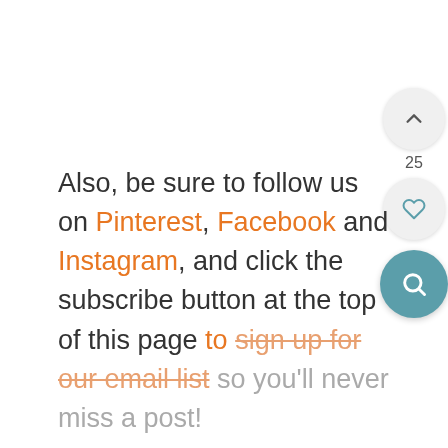[Figure (other): Floating UI buttons: a chevron-up circle button, a count '25', a heart circle button, and a teal search circle button, positioned on the right side of the page]
Also, be sure to follow us on Pinterest, Facebook and Instagram, and click the subscribe button at the top of this page to sign up for our email list so you'll never miss a post!